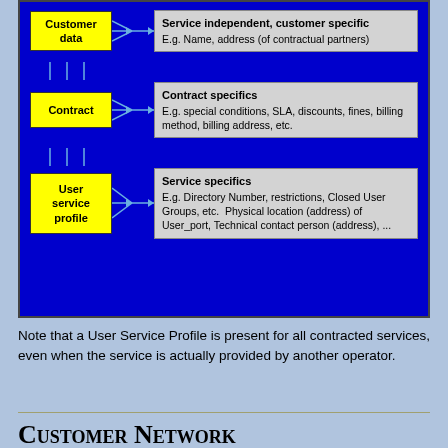[Figure (flowchart): A flowchart on a blue background showing three yellow boxes (Customer data, Contract, User service profile) connected via arrows to grey description boxes: 'Service independent, customer specific - E.g. Name, address (of contractual partners)', 'Contract specifics - E.g. special conditions, SLA, discounts, fines, billing method, billing address, etc.', 'Service specifics - E.g. Directory Number, restrictions, Closed User Groups, etc. Physical location (address) of User_port, Technical contact person (address), ...']
Note that a User Service Profile is present for all contracted services, even when the service is actually provided by another operator.
Customer Network Management
It may occur that a customer who uses extensive services from an operator, wishes to manage those services for himself.  This is